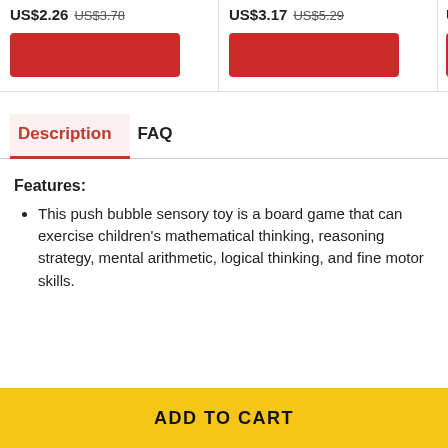US$2.26 US$3.78
US$3.17 US$5.29
Description
FAQ
Features:
This push bubble sensory toy is a board game that can exercise children's mathematical thinking, reasoning strategy, mental arithmetic, logical thinking, and fine motor skills.
ADD TO CART